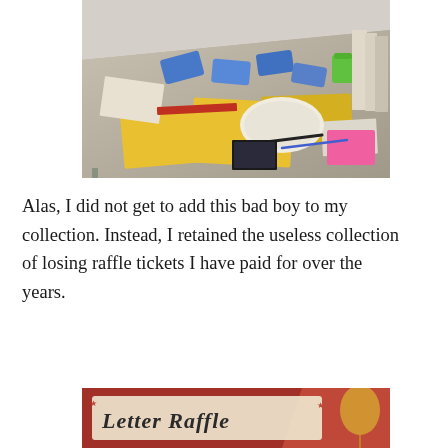[Figure (photo): A cluttered table viewed from above, covered with papers, yellow and blue raffle tickets, flyers, a paper plate, pens, a green cup, pink sticky notes, and various other items scattered across a gray table surface.]
Alas, I did not get to add this bad boy to my collection. Instead, I retained the useless collection of losing raffle tickets I have paid for over the years.
[Figure (photo): A partially visible sign or banner reading 'Letter Raffle' with decorative lettering on a red background, with a balloon visible to the right.]